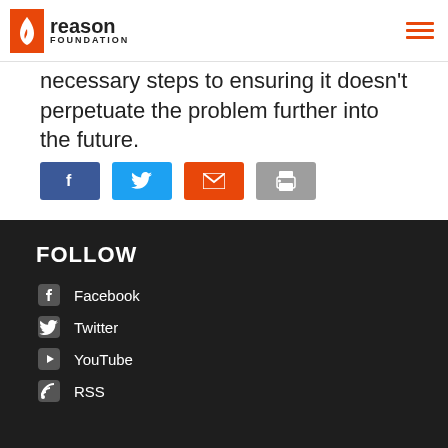Reason Foundation
necessary steps to ensuring it doesn't perpetuate the problem further into the future.
[Figure (infographic): Social share buttons: Facebook (blue), Twitter (cyan), Email (orange), Print (gray)]
FOLLOW
Facebook
Twitter
YouTube
RSS